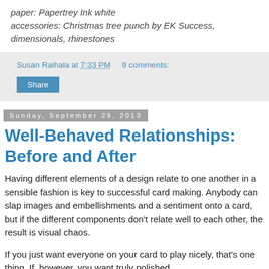paper: Papertrey Ink white accessories: Christmas tree punch by EK Success, dimensionals, rhinestones
Susan Raihala at 7:33 PM   9 comments:
Share
Sunday, September 29, 2013
Well-Behaved Relationships: Before and After
Having different elements of a design relate to one another in a sensible fashion is key to successful card making. Anybody can slap images and embellishments and a sentiment onto a card, but if the different components don't relate well to each other, the result is visual chaos.
If you just want everyone on your card to play nicely, that's one thing. If, however, you want truly polished